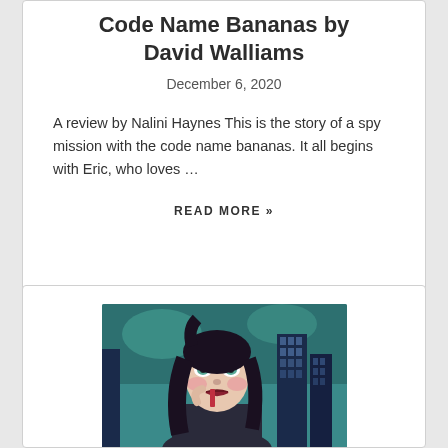Code Name Bananas by David Walliams
December 6, 2020
A review by Nalini Haynes This is the story of a spy mission with the code name bananas. It all begins with Eric, who loves …
READ MORE »
[Figure (illustration): Painted illustration of a young woman with dark hair, pale skin with rosy cheeks, holding something near her mouth, set against a teal/blue background with dark city buildings]